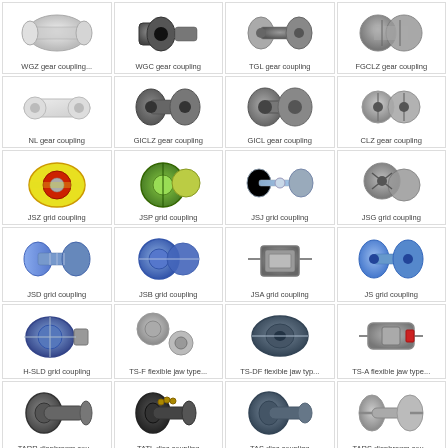[Figure (illustration): Grid of 20 mechanical coupling product images with labels: WGZ gear coupling, WGC gear coupling, TGL gear coupling, FGCLZ gear coupling, NL gear coupling, GICLZ gear coupling, GICL gear coupling, CLZ gear coupling, JSZ grid coupling, JSP grid coupling, JSJ grid coupling, JSG grid coupling, JSD grid coupling, JSB grid coupling, JSA grid coupling, JS grid coupling, H-SLD grid coupling, TS-F flexible jaw type, TS-DF flexible jaw type, TS-A flexible jaw type, TARR diaphragm coupling, TATL disc coupling, TAS disc coupling, TARS diaphragm coupling]